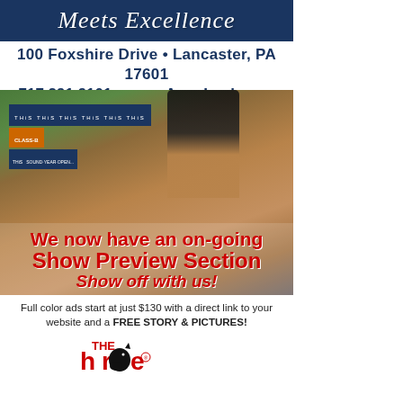[Figure (illustration): Dark navy banner with italic cursive white text reading 'Meets Excellence']
100 Foxshire Drive • Lancaster, PA 17601
717.291.9101 • www.AnneLusk.com
Each Office Is Independently Owned And Operated.
[Figure (photo): Photo of a chestnut horse with rider in show attire at an equestrian competition, overlaid with red bold text: 'We now have an on-going Show Preview Section Show off with us!']
Full color ads start at just $130 with a direct link to your website and a FREE STORY & PICTURES!
[Figure (logo): The Horse magazine logo with red 'THE' and stylized red/black 'horse' lettering with a horse head silhouette replacing the letter 'o']